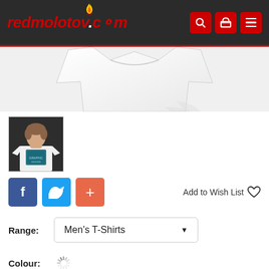redmolotov.com
[Figure (photo): White t-shirt product flat lay, partially visible against white/light grey background]
[Figure (photo): Thumbnail of a man wearing a white graphic t-shirt, dark background]
Add to Wish List
Range: Men's T-Shirts
Colour: